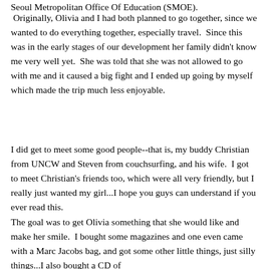Seoul Metropolitan Office Of Education (SMOE).
Originally, Olivia and I had both planned to go together, since we wanted to do everything together, especially travel.  Since this was in the early stages of our development her family didn't know me very well yet.  She was told that she was not allowed to go with me and it caused a big fight and I ended up going by myself which made the trip much less enjoyable.
I did get to meet some good people--that is, my buddy Christian from UNCW and Steven from couchsurfing, and his wife.  I got to meet Christian's friends too, which were all very friendly, but I really just wanted my girl...I hope you guys can understand if you ever read this.
The goal was to get Olivia something that she she would like and make her smile.  I bought some magazines and one even came with a Marc Jacobs bag, and got some other little things, just silly things...I also bought a CD of